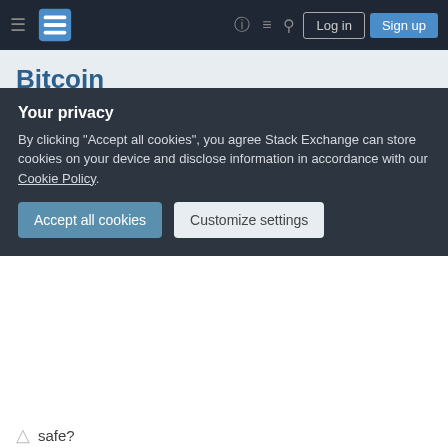Bitcoin Stack Exchange — navigation bar with Log in and Sign up buttons
Bitcoin
Ask Question
Crossing borders: security scheme ideas
Asked 1 year ago   Modified 3 days ago   Viewed 87 times
More and more airports force you to decrypt your
Your privacy
By clicking "Accept all cookies", you agree Stack Exchange can store cookies on your device and disclose information in accordance with our Cookie Policy.
Accept all cookies
Customize settings
safe?